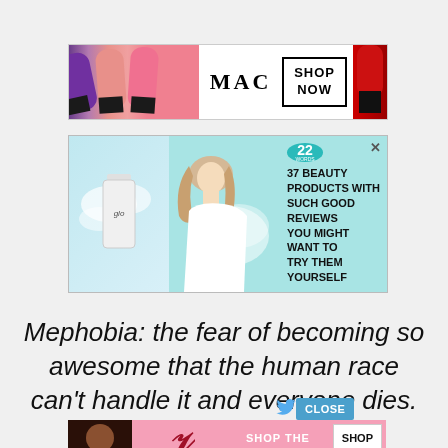[Figure (photo): MAC cosmetics advertisement banner showing colorful lipsticks on the left, MAC logo in the center, a SHOP NOW box, and a red lipstick on the right]
[Figure (photo): Beauty advertisement with light blue background. Left shows a glo skincare bottle, middle shows a woman with flowing hair, right shows a teal badge with '22' and text '37 BEAUTY PRODUCTS WITH SUCH GOOD REVIEWS YOU MIGHT WANT TO TRY THEM YOURSELF'. X close button in top right.]
Mephobia: the fear of becoming so awesome that the human race can't handle it and everyone dies.
[Figure (photo): Victoria's Secret advertisement banner with pink background, model on left, VS logo, 'SHOP THE COLLECTION' text and 'SHOP NOW' button]